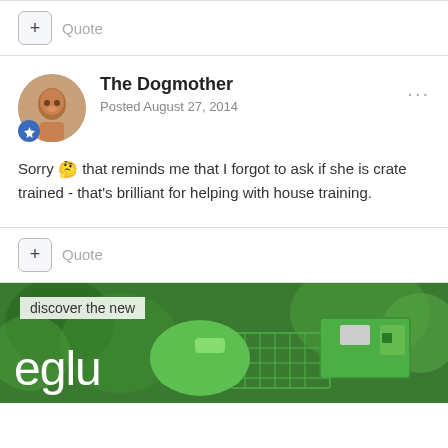+ Quote
The Dogmother
Posted August 27, 2014
Sorry 🤔 that reminds me that I forgot to ask if she is crate trained - that's brilliant for helping with house training.
+ Quote
[Figure (photo): Advertisement banner for Eglu chicken coop product showing green chicken coop in a garden with text 'discover the new eglu']